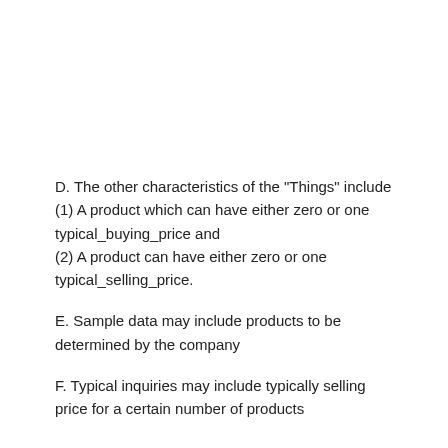D. The other characteristics of the "Things" include
(1) A product which can have either zero or one typical_buying_price and
(2) A product can have either zero or one typical_selling_price.
E. Sample data may include products to be determined by the company
F. Typical inquiries may include typically selling price for a certain number of products